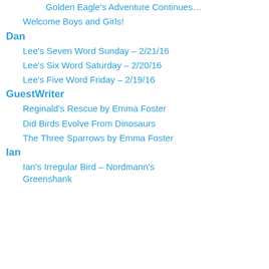Golden Eagle's Adventure Continues…
Welcome Boys and Girls!
Dan
Lee's Seven Word Sunday – 2/21/16
Lee's Six Word Saturday – 2/20/16
Lee's Five Word Friday – 2/19/16
GuestWriter
Reginald's Rescue by Emma Foster
Did Birds Evolve From Dinosaurs
The Three Sparrows by Emma Foster
Ian
Ian's Irregular Bird – Nordmann's Greenshank